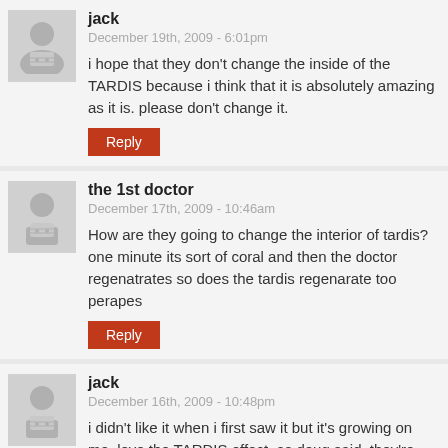jack
December 19th, 2009 - 6:01pm
i hope that they don't change the inside of the TARDIS because i think that it is absolutely amazing as it is. please don't change it.
the 1st doctor
December 17th, 2009 - 10:46am
How are they going to change the interior of tardis? one minute its sort of coral and then the doctor regenatrates so does the tardis regenarate too perapes
jack
December 16th, 2009 - 10:48pm
i didn't like it when i first saw it but it's growing on me. love the TARDIS effect. as doug said, they're changing so much at one time. it'll be interesting to see it's